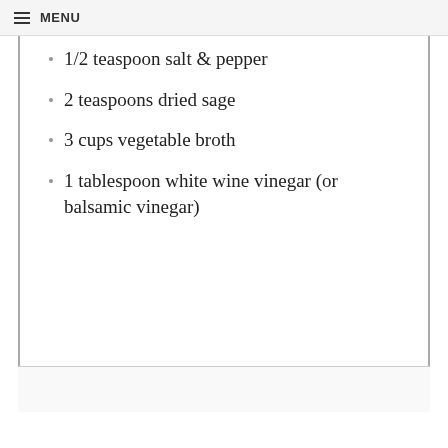MENU
1/2 teaspoon salt & pepper
2 teaspoons dried sage
3 cups vegetable broth
1 tablespoon white wine vinegar (or balsamic vinegar)